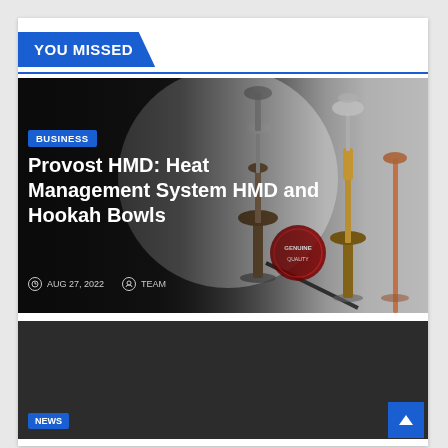YOU MISSED
[Figure (photo): Article card showing hookah pipes against a dark background with a grey circular area on the right. Contains a BUSINESS tag, article title, and metadata.]
Provost HMD: Heat Management System HMD and Hookah Bowls
AUG 27, 2022   TEAM
[Figure (photo): Second article card with dark grey background, partially visible, with a NEWS tag at the bottom left.]